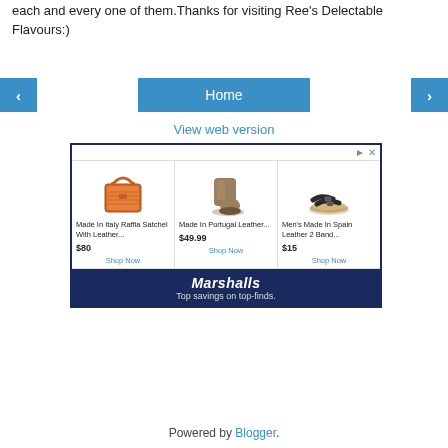each and every one of them.Thanks for visiting Ree's Delectable Flavours:)
[Figure (screenshot): Navigation bar with left arrow button, Home button, and right arrow button]
View web version
[Figure (infographic): Marshalls advertisement with three products: Made In Italy Raffia Satchel With Leather... $80 Shop Now; Made In Portugal Leather... $49.99 Shop Now; Men's Made In Spain Leather 2 Band... $15 Shop Now. Footer: Marshalls. Top savings on top-finds.]
Powered by Blogger.